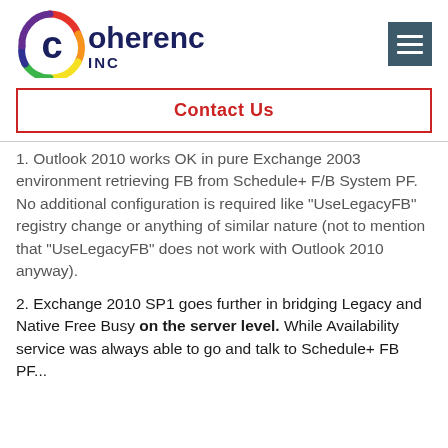[Figure (logo): Coherence INC logo with colorful circular arc icon on the left and 'Coherence INC' text in dark navy blue]
[Figure (other): Hamburger menu icon (three horizontal lines) on dark teal/slate background]
Contact Us
1. Outlook 2010 works OK in pure Exchange 2003 environment retrieving FB from Schedule+ F/B System PF. No additional configuration is required like “UseLegacyFB” registry change or anything of similar nature (not to mention that “UseLegacyFB” does not work with Outlook 2010 anyway).
2. Exchange 2010 SP1 goes further in bridging Legacy and Native Free Busy on the server level. While Availability service was always able to go and talk to Schedule+ FB PF...